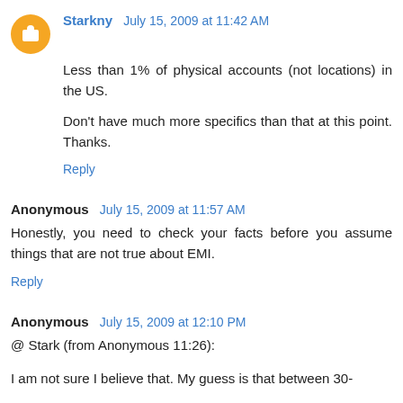Starkny July 15, 2009 at 11:42 AM
Less than 1% of physical accounts (not locations) in the US.
Don't have much more specifics than that at this point. Thanks.
Reply
Anonymous July 15, 2009 at 11:57 AM
Honestly, you need to check your facts before you assume things that are not true about EMI.
Reply
Anonymous July 15, 2009 at 12:10 PM
@ Stark (from Anonymous 11:26):
I am not sure I believe that. My guess is that between 30-